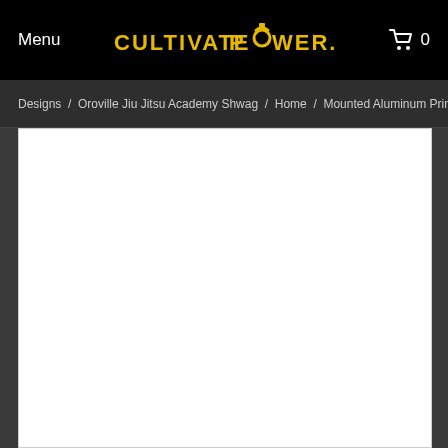Menu   CULTIVATE POWER.NET   0
Designs / Oroville Jiu Jitsu Academy Shwag / Home / Mounted Aluminum Print
[Figure (photo): White rectangular product image area showing mounted aluminum print product (blank/white product image)]